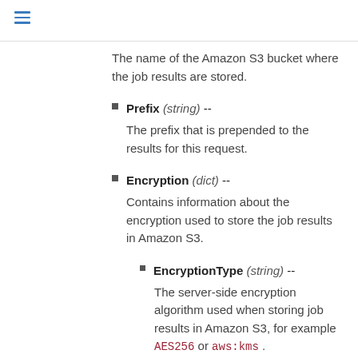The name of the Amazon S3 bucket where the job results are stored.
Prefix (string) --
The prefix that is prepended to the results for this request.
Encryption (dict) --
Contains information about the encryption used to store the job results in Amazon S3.
EncryptionType (string) --
The server-side encryption algorithm used when storing job results in Amazon S3, for example AES256 or aws:kms .